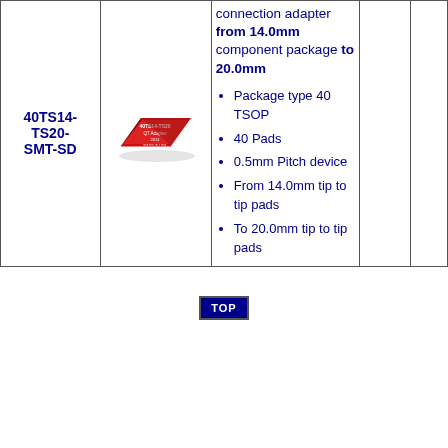| Part Number | Image | Description |  |  |
| --- | --- | --- | --- | --- |
| 40TS14-TS20-SMT-SD | [chip image] | connection adapter from 14.0mm component package to 20.0mm
• Package type 40 TSOP
• 40 Pads
• 0.5mm Pitch device
• From 14.0mm tip to tip pads
• To 20.0mm tip to tip pads |  |  |
[Figure (photo): Red SMT adapter PCB chip labeled 40TS14-TS20, Made in USA]